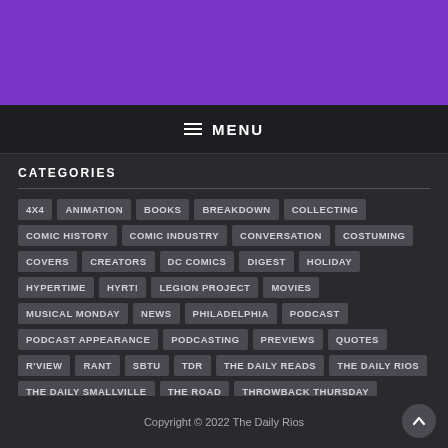[Figure (other): Purple header banner background]
≡ MENU
CATEGORIES
4X4
ANIMATION
BOOKS
BREAKDOWN
COLLECTING
COMIC HISTORY
COMIC INDUSTRY
CONVERSATION
COSTUMING
COVERS
CREATORS
DC COMICS
DIGEST
HOLIDAY
HYPERTIME
HYRT!
LEGION PROJECT
MOVIES
MUSICAL MONDAY
NEWS
PHILADELPHIA
PODCAST
PODCAST APPEARANCE
PODCASTING
PREVIEWS
QUOTES
R'VIEW
RANT
SBTU
TDR
THE DAILY READS
THE DAILY RIOS
THE DAILY SMALLVILLE
THE ROAD
THROWBACK THURSDAY
TOWER
TV
UNCATEGORIZED
WEBCOMICS
WEDNESDAY
Copyright © 2022 The Daily Rios